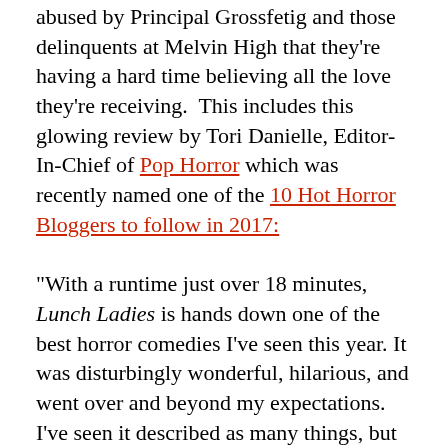abused by Principal Grossfetig and those delinquents at Melvin High that they're having a hard time believing all the love they're receiving. This includes this glowing review by Tori Danielle, Editor-In-Chief of Pop Horror which was recently named one of the 10 Hot Horror Bloggers to follow in 2017:

"With a runtime just over 18 minutes, Lunch Ladies is hands down one of the best horror comedies I've seen this year. It was disturbingly wonderful, hilarious, and went over and beyond my expectations.  I've seen it described as many things, but for me I see it as Sweeney Todd meets Heathers along with some inspiration by John